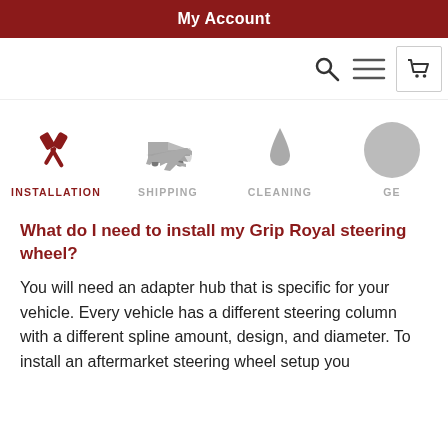My Account
[Figure (screenshot): Navigation bar with search, menu, and cart icons]
[Figure (infographic): Category icons row: Installation (active, dark red tools icon), Shipping (airplane icon), Cleaning (water drop icon), GE... (partially visible gray circle)]
What do I need to install my Grip Royal steering wheel?
You will need an adapter hub that is specific for your vehicle. Every vehicle has a different steering column with a different spline amount, design, and diameter. To install an aftermarket steering wheel setup you